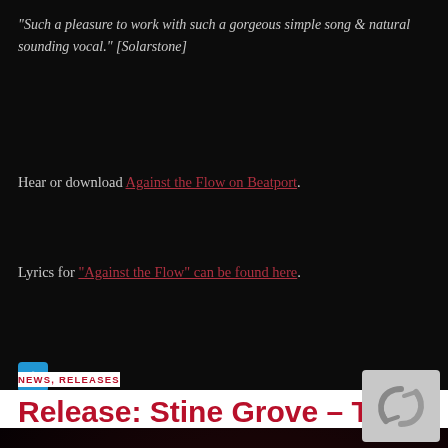"Such a pleasure to work with such a gorgeous simple song & natural sounding vocal." [Solarstone]
Hear or download Against the Flow on Beatport.
Lyrics for "Against the Flow" can be found here.
[Figure (other): Blue plus/expand button icon]
[Figure (photo): Dark reddish-toned blurred photo of a woman's face with overlaid category tags: BLACK HOLE RECORDINGS, EDM, ELECTRONIC DANCE MUSIC, PURE TRANCE, RELEASE, RELEASES, SOLARSTONE, SOLO RELEASE, STINE GROVE, TRANCE, VOCAL TRANCE]
NEWS, RELEASES
Release: Stine Grove – This